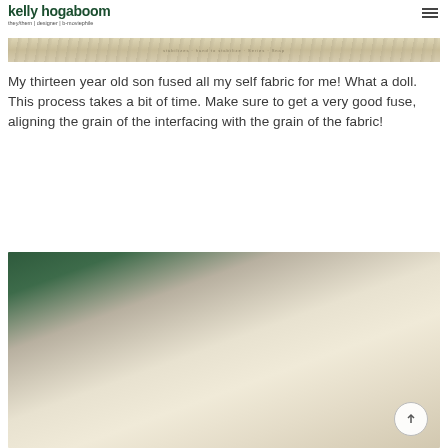kelly hogaboom
they/them | designer | b-moviephile
[Figure (photo): Close-up photo of interfacing/stabilizer packaging with text visible]
My thirteen year old son fused all my self fabric for me! What a doll. This process takes a bit of time. Make sure to get a very good fuse, aligning the grain of the interfacing with the grain of the fabric!
[Figure (photo): Close-up photo of fabric pieces with interfacing fused, showing texture and grain alignment, against a dark green background]